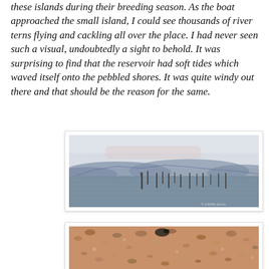these islands during their breeding season. As the boat approached the small island, I could see thousands of river terns flying and cackling all over the place. I had never seen such a visual, undoubtedly a sight to behold. It was surprising to find that the reservoir had soft tides which waved itself onto the pebbled shores. It was quite windy out there and that should be the reason for the same.
[Figure (photo): A wide reservoir or lake with calm water in the foreground, dead tree stumps and reeds sticking out of the water, blue-purple mountain range in the background, and an overcast hazy sky.]
[Figure (photo): A close-up of a pebbled sandy shore with small stones and pebbles scattered across the ground, with a bird partially visible.]